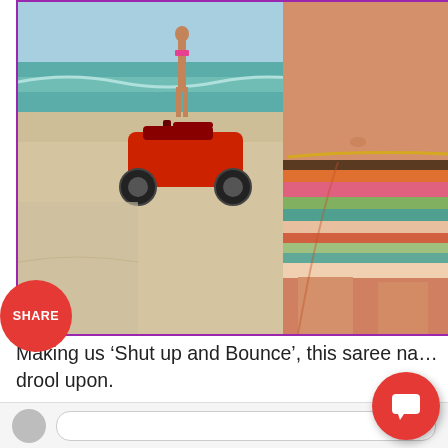[Figure (photo): Beach scene showing a woman in the foreground wearing a colorful striped wrap skirt, cropped to show midriff and legs. Background shows another person, an ATV/quad bike on sandy beach with ocean and blue sky.]
Making us ‘Shut up and Bounce’, this saree na… drool upon.